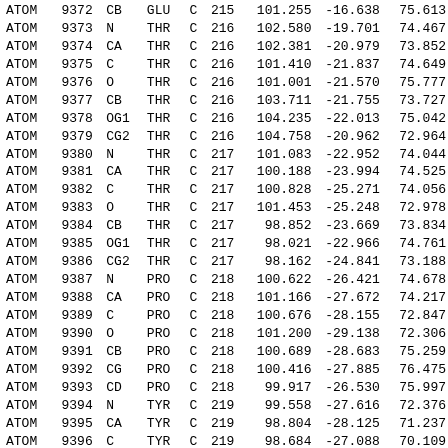| Record | Serial | Atom | Res | Chain | ResSeq | X | Y | Z |
| --- | --- | --- | --- | --- | --- | --- | --- | --- |
| ATOM | 9372 | CB | GLU | C | 215 | 101.255 | -16.638 | 75.613 |
| ATOM | 9373 | N | THR | C | 216 | 102.580 | -19.701 | 74.467 |
| ATOM | 9374 | CA | THR | C | 216 | 102.381 | -20.979 | 73.852 |
| ATOM | 9375 | C | THR | C | 216 | 101.410 | -21.837 | 74.649 |
| ATOM | 9376 | O | THR | C | 216 | 101.001 | -21.570 | 75.777 |
| ATOM | 9377 | CB | THR | C | 216 | 103.711 | -21.755 | 73.727 |
| ATOM | 9378 | OG1 | THR | C | 216 | 104.235 | -22.013 | 75.042 |
| ATOM | 9379 | CG2 | THR | C | 216 | 104.758 | -20.962 | 72.964 |
| ATOM | 9380 | N | THR | C | 217 | 101.083 | -22.952 | 74.044 |
| ATOM | 9381 | CA | THR | C | 217 | 100.188 | -23.994 | 74.525 |
| ATOM | 9382 | C | THR | C | 217 | 100.828 | -25.271 | 74.056 |
| ATOM | 9383 | O | THR | C | 217 | 101.453 | -25.248 | 72.978 |
| ATOM | 9384 | CB | THR | C | 217 | 98.852 | -23.669 | 73.834 |
| ATOM | 9385 | OG1 | THR | C | 217 | 98.021 | -22.966 | 74.761 |
| ATOM | 9386 | CG2 | THR | C | 217 | 98.162 | -24.841 | 73.188 |
| ATOM | 9387 | N | PRO | C | 218 | 100.622 | -26.421 | 74.678 |
| ATOM | 9388 | CA | PRO | C | 218 | 101.166 | -27.672 | 74.217 |
| ATOM | 9389 | C | PRO | C | 218 | 100.676 | -28.155 | 72.847 |
| ATOM | 9390 | O | PRO | C | 218 | 101.200 | -29.138 | 72.306 |
| ATOM | 9391 | CB | PRO | C | 218 | 100.689 | -28.683 | 75.259 |
| ATOM | 9392 | CG | PRO | C | 218 | 100.416 | -27.885 | 76.475 |
| ATOM | 9393 | CD | PRO | C | 218 | 99.917 | -26.530 | 75.997 |
| ATOM | 9394 | N | TYR | C | 219 | 99.558 | -27.616 | 72.376 |
| ATOM | 9395 | CA | TYR | C | 219 | 98.804 | -28.125 | 71.237 |
| ATOM | 9396 | C | TYR | C | 219 | 98.684 | -27.088 | 70.109 |
| ATOM | 9397 | O | TYR | C | 219 | 97.732 | -27.155 | 69.316 |
| ATOM | 9398 | CB | TYR | C | 219 | 97.381 | -28.510 | 71.693 |
| ATOM | 9399 | CG | TYR | C | 219 | 97.367 | -29.471 | 72.880 |
| ATOM | 9400 | CD1 | TYR | C | 219 | 97.950 | -30.719 | 72.786 |
| ATOM | 9401 | CD2 | TYR | C | 219 | 96.780 | -29.083 | 74.074 |